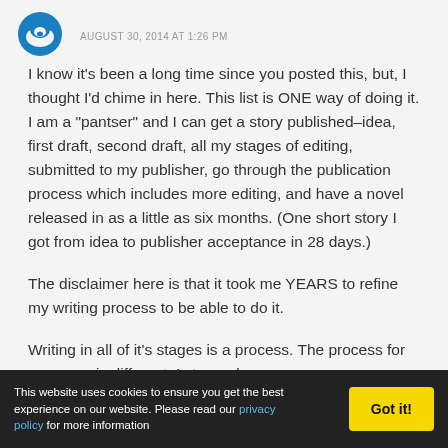AUGUST 30, 2014 AT 1:26 PM
I know it’s been a long time since you posted this, but, I thought I’d chime in here. This list is ONE way of doing it. I am a “pantser” and I can get a story published–idea, first draft, second draft, all my stages of editing, submitted to my publisher, go through the publication process which includes more editing, and have a novel released in as a little as six months. (One short story I got from idea to publisher acceptance in 28 days.)
The disclaimer here is that it took me YEARS to refine my writing process to be able to do it.
Writing in all of it’s stages is a process. The process for everyone is different. I stopped
This website uses cookies to ensure you get the best experience on our website. Please read our privacy policy for more information